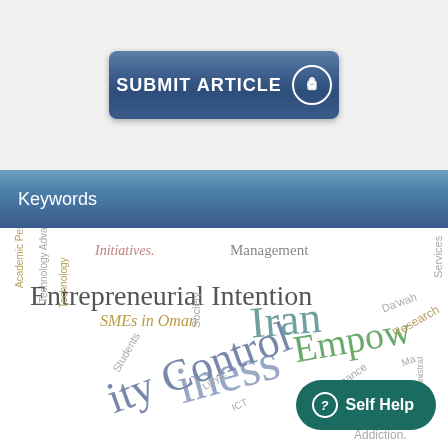[Figure (other): Submit Article button with hand pointer icon on blue gradient background]
Keywords
[Figure (infographic): Word cloud with keywords including Entrepreneurial Intention, Iran, Business, SMEs in Oman, Empowerment, Management, Initiatives, Society, Libya, Technology, Finance, Research, Da'wah, Services, Addiction, Students, Coaching, UTAUT, etc.]
[Figure (other): Self Help button overlay]